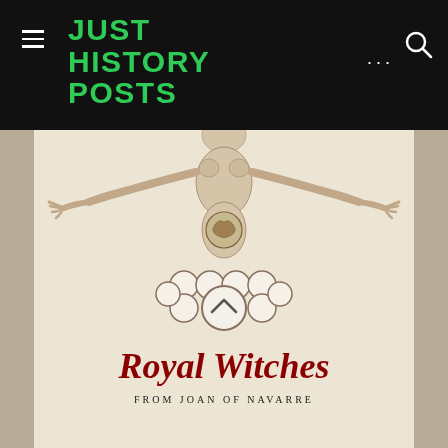JUST HISTORY POSTS
[Figure (photo): Book cover of 'Royal Witches: From Joan of Navarre' showing a historical illustration of a female figure with outstretched arms and heraldic circles/rings below, with the title 'Royal Witches' in dark red script lettering and 'FROM JOAN OF NAVARRE' in small caps at the bottom.]